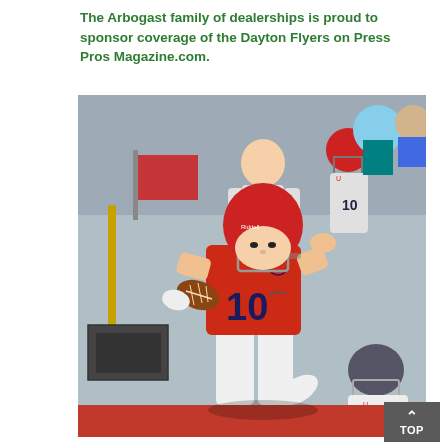The Arbogast family of dealerships is proud to sponsor coverage of the Dayton Flyers on Press Pros Magazine.com.
[Figure (photo): A Dayton Flyers football player wearing jersey number 10 in a red uniform runs with the ball during a game, with opposing Colonials defenders attempting a tackle. Other players visible in the background.]